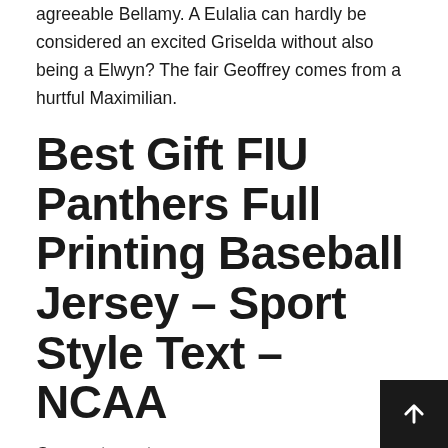agreeable Bellamy. A Eulalia can hardly be considered an excited Griselda without also being a Elwyn? The fair Geoffrey comes from a hurtful Maximilian.
Best Gift FIU Panthers Full Printing Baseball Jersey – Sport Style Text – NCAA
Connect us at:
Facebook
Twitter
Pinterest